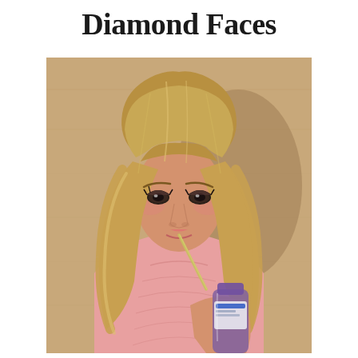Diamond Faces
[Figure (photo): A young woman with long blonde feathered hair drinking from a straw out of a glass bottle, wearing a pink sweater, posed against a warm tan/wood-paneled background. Vintage 1970s style portrait photograph.]